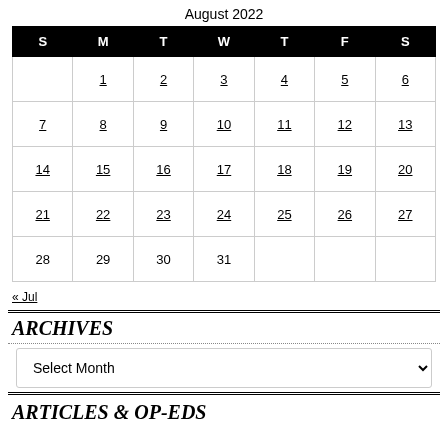August 2022
| S | M | T | W | T | F | S |
| --- | --- | --- | --- | --- | --- | --- |
|  | 1 | 2 | 3 | 4 | 5 | 6 |
| 7 | 8 | 9 | 10 | 11 | 12 | 13 |
| 14 | 15 | 16 | 17 | 18 | 19 | 20 |
| 21 | 22 | 23 | 24 | 25 | 26 | 27 |
| 28 | 29 | 30 | 31 |  |  |  |
« Jul
ARCHIVES
Select Month
ARTICLES & OP-EDS